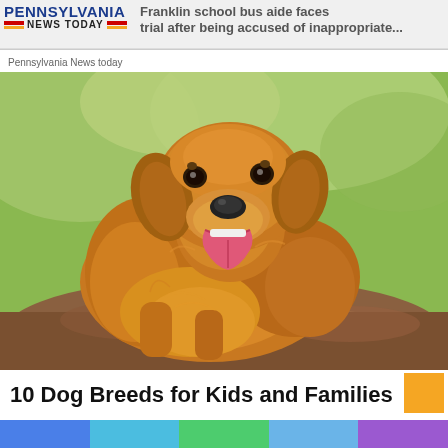PENNSYLVANIA NEWS TODAY
Franklin school bus aide faces trial after being accused of inappropriate...
Pennsylvania News today
[Figure (photo): Golden Retriever dog sitting outdoors with tongue out, green bokeh background]
10 Dog Breeds for Kids and Families